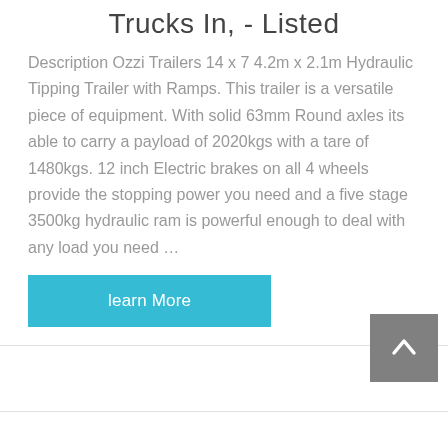Trucks In, - Listed
Description Ozzi Trailers 14 x 7 4.2m x 2.1m Hydraulic Tipping Trailer with Ramps. This trailer is a versatile piece of equipment. With solid 63mm Round axles its able to carry a payload of 2020kgs with a tare of 1480kgs. 12 inch Electric brakes on all 4 wheels provide the stopping power you need and a five stage 3500kg hydraulic ram is powerful enough to deal with any load you need …
learn More